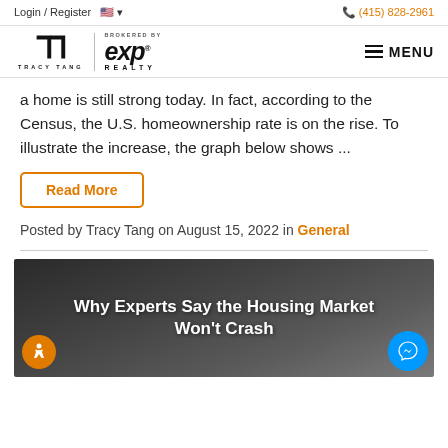Login / Register | (415) 828-2961
[Figure (logo): Tracy Tang logo with TT monogram and eXp Realty brokered by logo, plus MENU hamburger button]
a home is still strong today. In fact, according to the Census, the U.S. homeownership rate is on the rise. To illustrate the increase, the graph below shows ...
Read More
Posted by Tracy Tang on August 15, 2022 in General
[Figure (photo): Article preview image with dark background showing text: Why Experts Say the Housing Market Won't Crash]